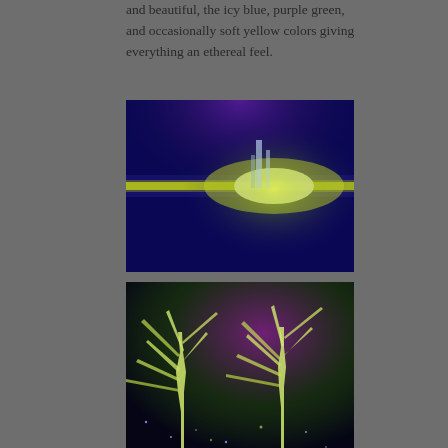and beautiful, the icy blue, purple green, and occasionally soft yellow colors giving everything an ethereal feel.
[Figure (illustration): Dark blue fantasy scene with a glowing horizontal beam and a bright light source on the right side against a deep blue background, ethereal atmospheric lighting]
[Figure (illustration): Glowing white tree branches against a dark starry background with purple and green hues, fantasy/ethereal style illustration]
Continuing, I thought...